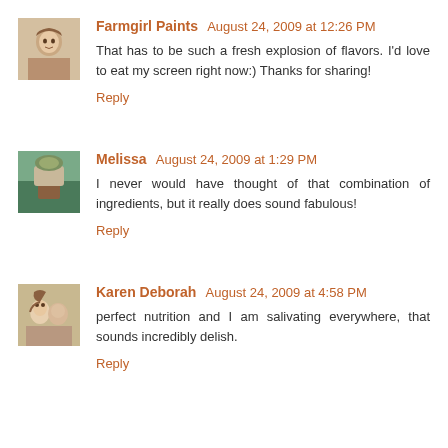Farmgirl Paints  August 24, 2009 at 12:26 PM
That has to be such a fresh explosion of flavors. I'd love to eat my screen right now:) Thanks for sharing!
Reply
Melissa  August 24, 2009 at 1:29 PM
I never would have thought of that combination of ingredients, but it really does sound fabulous!
Reply
Karen Deborah  August 24, 2009 at 4:58 PM
perfect nutrition and I am salivating everywhere, that sounds incredibly delish.
Reply